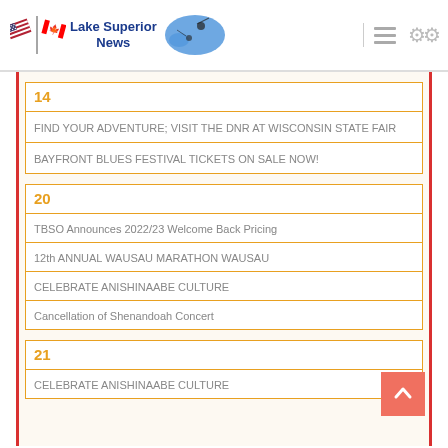Lake Superior News
14
FIND YOUR ADVENTURE; VISIT THE DNR AT WISCONSIN STATE FAIR
BAYFRONT BLUES FESTIVAL TICKETS ON SALE NOW!
20
TBSO Announces 2022/23 Welcome Back Pricing
12th ANNUAL WAUSAU MARATHON WAUSAU
CELEBRATE ANISHINAABE CULTURE
Cancellation of Shenandoah Concert
21
CELEBRATE ANISHINAABE CULTURE